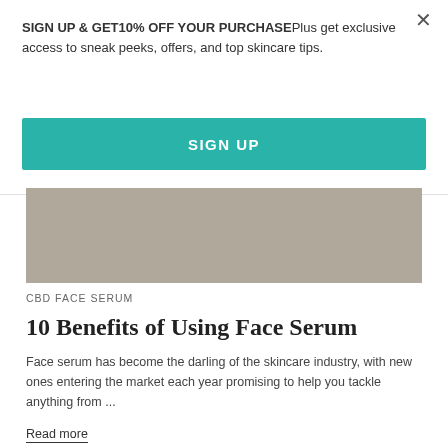SIGN UP & GET10% OFF YOUR PURCHASEPlus get exclusive access to sneak peeks, offers, and top skincare tips.
SIGN UP
[Figure (photo): Grayish-tan rectangular image placeholder area for a product or skincare related photo]
CBD FACE SERUM
10 Benefits of Using Face Serum
Face serum has become the darling of the skincare industry, with new ones entering the market each year promising to help you tackle anything from ...
Read more